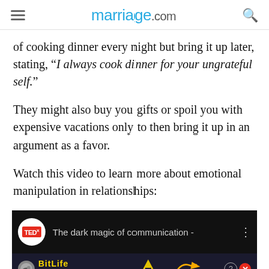marriage.com
of cooking dinner every night but bring it up later, stating, “I always cook dinner for your ungrateful self.”
They might also buy you gifts or spoil you with expensive vacations only to then bring it up in an argument as a favor.
Watch this video to learn more about emotional manipulation in relationships:
[Figure (screenshot): TEDx video thumbnail showing title 'The dark magic of communication -' with a BitLife advertisement overlay at the bottom]